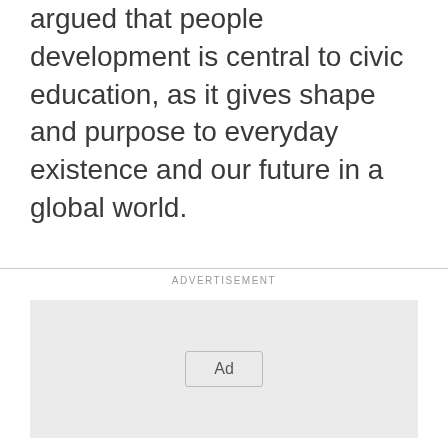argued that people development is central to civic education, as it gives shape and purpose to everyday existence and our future in a global world.
ADVERTISEMENT
[Figure (other): Advertisement placeholder box with grey background and an 'Ad' button in the center]